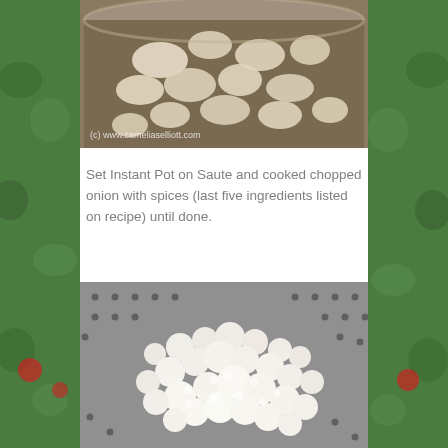[Figure (photo): Photo of chopped onions cooking in a metal pot, with watermark text (c) www.cameliaselliott.com]
Set Instant Pot on Saute and cooked chopped onion with spices (last five ingredients listed on recipe) until done.
[Figure (photo): Photo of small white pearl onions or hominy in a colander/strainer]